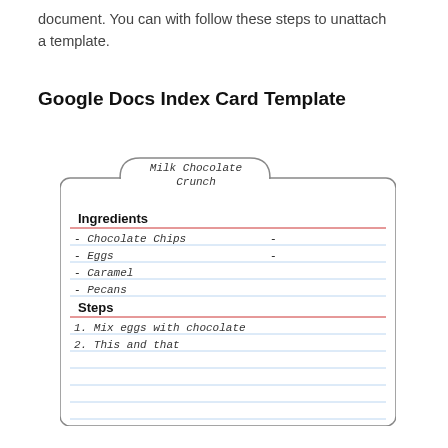document. You can with follow these steps to unattach a template.
Google Docs Index Card Template
[Figure (illustration): An index card template showing a recipe card for 'Milk Chocolate Crunch' with Ingredients section listing Chocolate Chips, Eggs, Caramel, Pecans and Steps section listing 1. Mix eggs with chocolate, 2. This and that, with horizontal ruled lines throughout.]